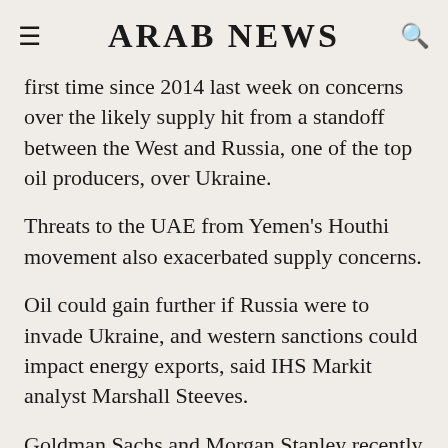ARAB NEWS
first time since 2014 last week on concerns over the likely supply hit from a standoff between the West and Russia, one of the top oil producers, over Ukraine.
Threats to the UAE from Yemen's Houthi movement also exacerbated supply concerns.
Oil could gain further if Russia were to invade Ukraine, and western sanctions could impact energy exports, said IHS Markit analyst Marshall Steeves.
Goldman Sachs and Morgan Stanley recently forecast oil prices above $100 this year citing the lower-than-expected COVID-19 hit and supply